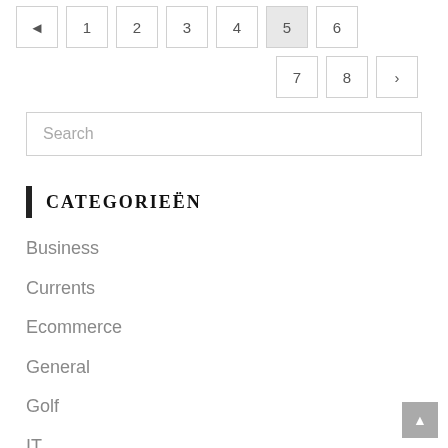[Figure (other): Pagination navigation with page numbers and arrow buttons. Visible: 4, 1, 2, 3, 4, 5 (highlighted), 6, 7, 8, next arrow.]
Search
CATEGORIEËN
Business
Currents
Ecommerce
General
Golf
IT
Photography